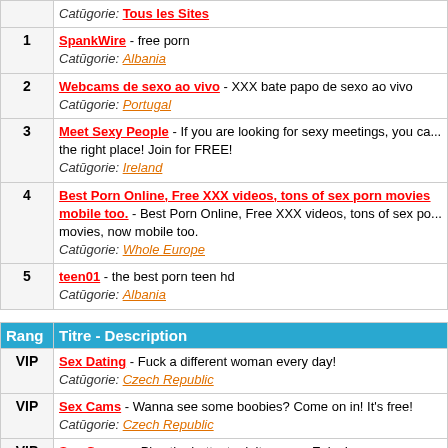| Rang | Titre - Description |
| --- | --- |
|  | Catūgorie: Tous les Sites |
| 1 | SpankWire - free porn
Catūgorie: Albania |
| 2 | Webcams de sexo ao vivo - XXX bate papo de sexo ao vivo
Catūgorie: Portugal |
| 3 | Meet Sexy People - If you are looking for sexy meetings, you ca... the right place! Join for FREE!
Catūgorie: Ireland |
| 4 | Best Porn Online, Free XXX videos, tons of sex porn movies mobile too. - Best Porn Online, Free XXX videos, tons of sex po... movies, now mobile too.
Catūgorie: Whole Europe |
| 5 | teen01 - the best porn teen hd
Catūgorie: Albania |
| Rang | Titre - Description |
| --- | --- |
| VIP | Sex Dating - Fuck a different woman every day!
Catūgorie: Czech Republic |
| VIP | Sex Cams - Wanna see some boobies? Come on in! It's free!
Catūgorie: Czech Republic |
| VIP | Sex Games - Play the hottest adult games. Enjoy!
Catūgorie: Czech Republic |
| 6 | WhatsChat Czech Republic - Hledáš nadržené ženy ve svém sousedství? Jsi starší 35 let?
Catūgorie: Czech Republic |